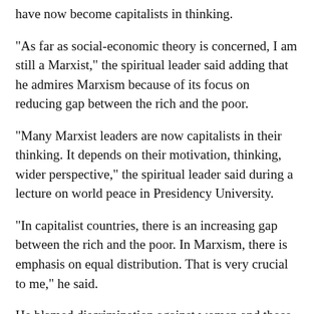have now become capitalists in thinking.
“As far as social-economic theory is concerned, I am still a Marxist,” the spiritual leader said adding that he admires Marxism because of its focus on reducing gap between the rich and the poor.
“Many Marxist leaders are now capitalists in their thinking. It depends on their motivation, thinking, wider perspective,” the spiritual leader said during a lecture on world peace in Presidency University.
“In capitalist countries, there is an increasing gap between the rich and the poor. In Marxism, there is emphasis on equal distribution. That is very crucial to me,” he said.
He blamed discrimination against women and those from low-castes for hampering peace in India, but said, “Muslims in India are living more safely than the Shias of Pakistan.”